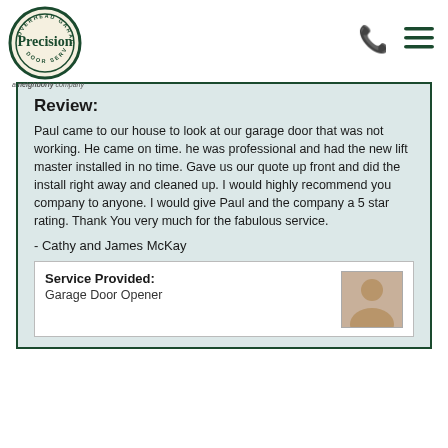[Figure (logo): Precision Overhead Garage Door Service logo - circular emblem with green border and Precision text]
[Figure (other): Phone icon and hamburger menu icon in dark green]
Review:
Paul came to our house to look at our garage door that was not working. He came on time. he was professional and had the new lift master installed in no time. Gave us our quote up front and did the install right away and cleaned up. I would highly recommend you company to anyone. I would give Paul and the company a 5 star rating. Thank You very much for the fabulous service.
- Cathy and James McKay
Service Provided:
Garage Door Opener
[Figure (photo): Photo of a technician (partially visible, cropped at bottom)]